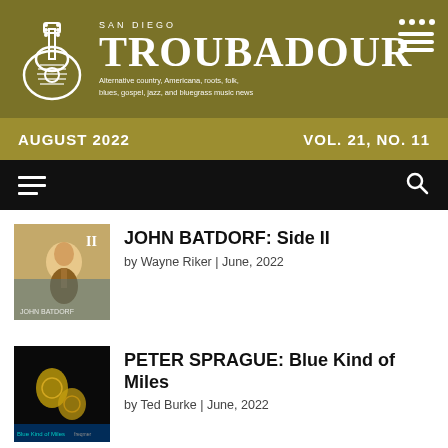SAN DIEGO TROUBADOUR — Alternative country, Americana, roots, folk, blues, gospel, jazz, and bluegrass music news
AUGUST 2022 | VOL. 21, NO. 11
JOHN BATDORF: Side II
by Wayne Riker | June, 2022
PETER SPRAGUE: Blue Kind of Miles
by Ted Burke | June, 2022